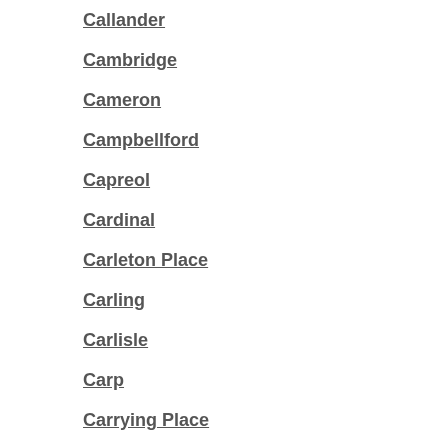Callander
Cambridge
Cameron
Campbellford
Capreol
Cardinal
Carleton Place
Carling
Carlisle
Carp
Carrying Place
Casselman
Castleton
Cavan-Monaghan
Cavan Monaghan
Cayuga